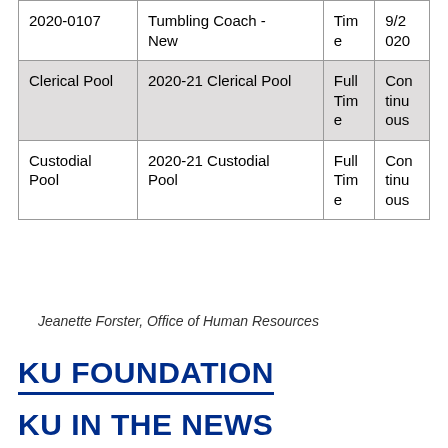|  |  |  |  |
| --- | --- | --- | --- |
| 2020-0107 | Tumbling Coach - New | Tim e | 9/2 020 |
| Clerical Pool | 2020-21 Clerical Pool | Full Tim e | Con tinu ous |
| Custodial Pool | 2020-21 Custodial Pool | Full Tim e | Con tinu ous |
Jeanette Forster, Office of Human Resources
KU FOUNDATION
KU IN THE NEWS